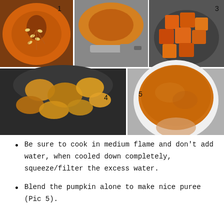[Figure (photo): Five-step photo collage showing pumpkin preparation: (1) raw halved pumpkin with seeds, (2) pumpkin half being flame-roasted, (3) peeled pumpkin cubes in a pan, (4) cooked pumpkin cubes in a dark pot, (5) finished pumpkin puree in a white container.]
Be sure to cook in medium flame and don't add water, when cooled down completely, squeeze/filter the excess water.
Blend the pumpkin alone to make nice puree (Pic 5).